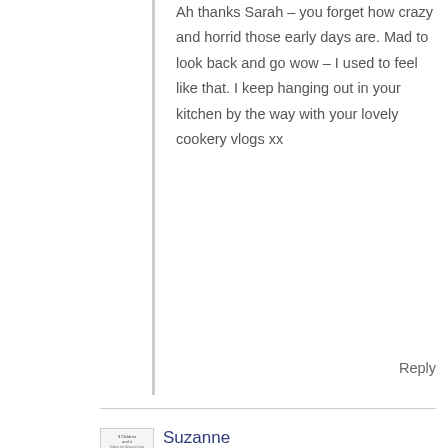Ah thanks Sarah – you forget how crazy and horrid those early days are. Mad to look back and go wow – I used to feel like that. I keep hanging out in your kitchen by the way with your lovely cookery vlogs xx
Reply
[Figure (illustration): Small avatar image for Suzanne, showing a logo or icon with text '3 Children and it' and a decorative line and pen icon]
Suzanne
February 26, 2016 at 7:14 pm (7 years ago)
Lovely Alison. I think this is so important to share, not just for other mums going through something similar but for those of us who just don't know what to do or say. You're amazing. I cannot imagine how hard it must have been then and now. Thank you for sharing. x x
Suzanne recently posted…Take 5: Fury, Flower